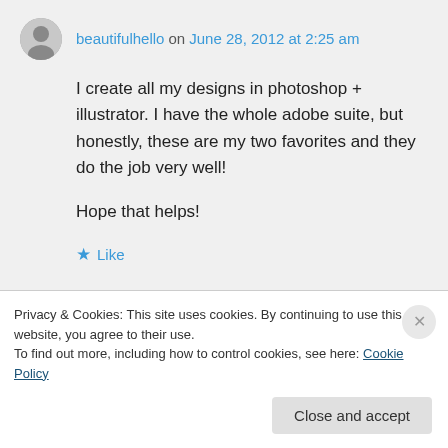beautifulhello on June 28, 2012 at 2:25 am
I create all my designs in photoshop + illustrator. I have the whole adobe suite, but honestly, these are my two favorites and they do the job very well!

Hope that helps!
★ Like
Privacy & Cookies: This site uses cookies. By continuing to use this website, you agree to their use.
To find out more, including how to control cookies, see here: Cookie Policy
Close and accept